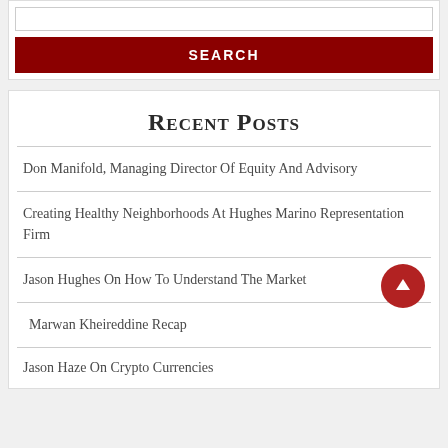[search input]
SEARCH
Recent Posts
Don Manifold, Managing Director Of Equity And Advisory
Creating Healthy Neighborhoods At Hughes Marino Representation Firm
Jason Hughes On How To Understand The Market
Marwan Kheireddine Recap
Jason Haze On Crypto Currencies